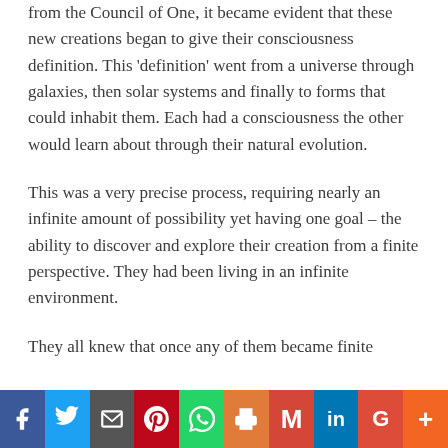from the Council of One, it became evident that these new creations began to give their consciousness definition. This 'definition' went from a universe through galaxies, then solar systems and finally to forms that could inhabit them. Each had a consciousness the other would learn about through their natural evolution.
This was a very precise process, requiring nearly an infinite amount of possibility yet having one goal – the ability to discover and explore their creation from a finite perspective. They had been living in an infinite environment.
They all knew that once any of them became finite they would lose awareness of the fact that...
[Figure (infographic): Social media sharing bar with icons: Facebook (blue), Twitter (light blue), Email/envelope (gray), Pinterest (red), WhatsApp (green), Print (orange-brown), Gmail (red), LinkedIn (blue), Google+ (red-orange), More/plus (orange)]